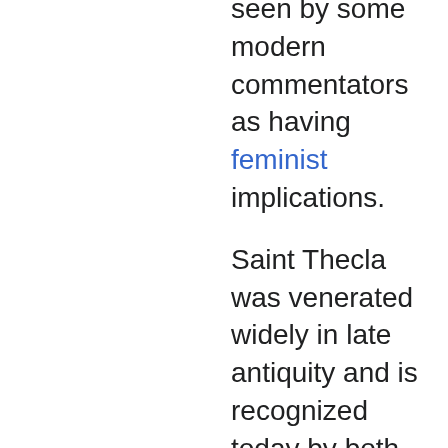seen by some modern commentators as having feminist implications.
Saint Thecla was venerated widely in late antiquity and is recognized today by both the Roman Catholic and Eastern Orthodox traditions. Several churches are